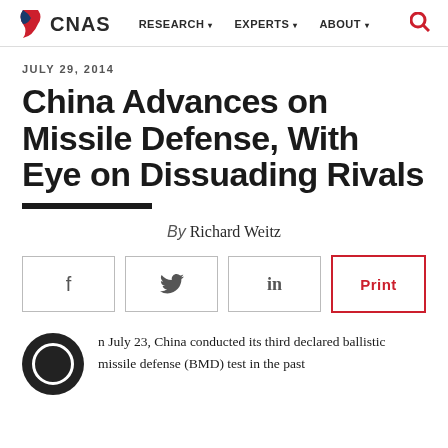CNAS | RESEARCH | EXPERTS | ABOUT
JULY 29, 2014
China Advances on Missile Defense, With Eye on Dissuading Rivals
By Richard Weitz
f | Twitter | in | Print
On July 23, China conducted its third declared ballistic missile defense (BMD) test in the past